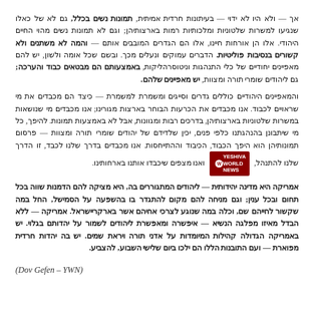אך — ולא היו לא ידוי — בעיתונות חרדית אמיתית, תמונות נשים בכלל, גם לא של כאלו שנגיעו למשרות שלטוניות ומלכותיות רמות בארצותיהן; וגם לא תמונות נשים מהוי החיים היהודי. אלו הן אורחות חיינו, אלו הם הגדרים המובבים אותם — והמה לא משתנים ולא קשורים בנסיבות פוליטיות. הדברים עמוקים ונעלים מכך. ובשם שכל אומה ולשון, יש להם מאפיינים יחודיים של כלי התנהגות וניטוסרהליקות, באמצעותם הם מבטאים כבוד והערכה; גם ליהודים שומרי תורה ומצוות, יש מאפיינים שלהם.
והמאפיינים היהודיים כוללים גדרים וסייגים ומשמרת למשמרת — כיצד הם מכבדים את מי שראויים לכבוד. אנו מכבדים את הכרעות הבוחר בארצות מגורינו; אנו מכבדים מי שנושאות במשרות שלטוניות בארצותיהן, בדרכים רבות ומגוונות, אבל לא באמצעות תמונות. להיפך, כל מי שיתבונן בהנהגתנו כלפי פנים, יכין שלדידם של יהודים שומרי תורה ומצוות — פרסום תמונותיהן הוא היפך הכבוד, הכיבוד וההתייחסות. אנו מכבדים בדרך שלנו לכבד, זו הדרך שלנו להתנהל, ואנו מצפים שיכבדו אותנו בארחותינו.
[Figure (logo): Yeshiva World News logo - dark red/maroon circular emblem with W icon and text YESHIVA WORLD NEWS]
אמריקה היא מדינה יהידותית — ליהודים המתגוררים בה, היא מציקה להם הדמנות שווה בכל תחום ובכל ענין; וגם מניחה להם מקום להתגדר בו בהשפעה על הסמישל, החל במה שקשור לחייהם שם, וכלה במה שנוגע לצרכי אחיהם אשר בארקריישראל. אמריקה — ללא הבדל מאיזו מפלגה הנשיא — איפשרה ומאפשרת ליהודים לשמור על יהדותם בגלוי. יש באמריקה הגדולה קהילות המיומדות על אדני תורה ויראת שמים. יש בה יהדות חרדית מפוארת — ועם התובנות הללו הם ילכו ביום שלישי השבוע, להצביע.
(Dov Gefen – YWN)